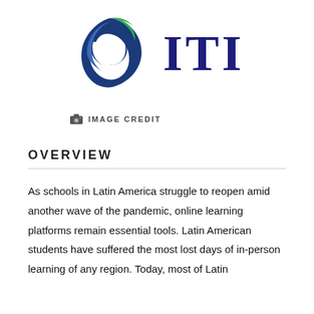[Figure (logo): ITI logo with circular globe icon in green and blue, next to bold dark navy serif text 'ITI']
IMAGE CREDIT
OVERVIEW
As schools in Latin America struggle to reopen amid another wave of the pandemic, online learning platforms remain essential tools. Latin American students have suffered the most lost days of in-person learning of any region. Today, most of Latin